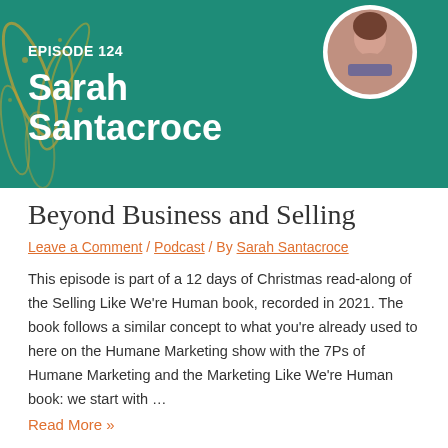[Figure (photo): Podcast episode banner with teal/green background with golden leaf pattern, showing 'EPISODE 124' and 'Sarah Santacroce' text in white, with a circular avatar photo of Sarah Santacroce in the top right corner.]
Beyond Business and Selling
Leave a Comment / Podcast / By Sarah Santacroce
This episode is part of a 12 days of Christmas read-along of the Selling Like We're Human book, recorded in 2021. The book follows a similar concept to what you're already used to here on the Humane Marketing show with the 7Ps of Humane Marketing and the Marketing Like We're Human book: we start with …
Read More »